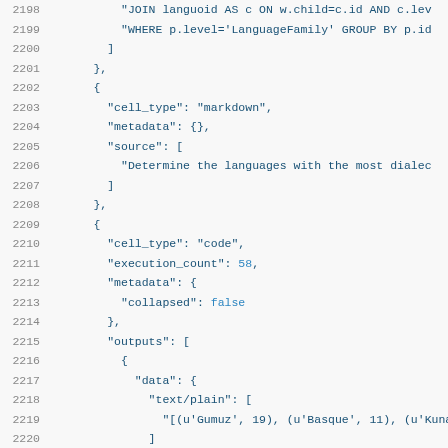Code listing lines 2198-2219, showing JSON/Python notebook source with line numbers. Content includes SQL JOIN/WHERE fragments, markdown and code cell definitions with cell_type, metadata, source, execution_count, outputs, data, and text/plain fields.